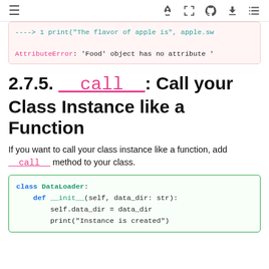≡  🚀 [] GitHub Download ≡
---> 1 print("The flavor of apple is", apple.sw
AttributeError: 'Food' object has no attribute '
2.7.5. __call__: Call your Class Instance like a Function
If you want to call your class instance like a function, add __call__ method to your class.
class DataLoader:
    def __init__(self, data_dir: str):
        self.data_dir = data_dir
        print("Instance is created")